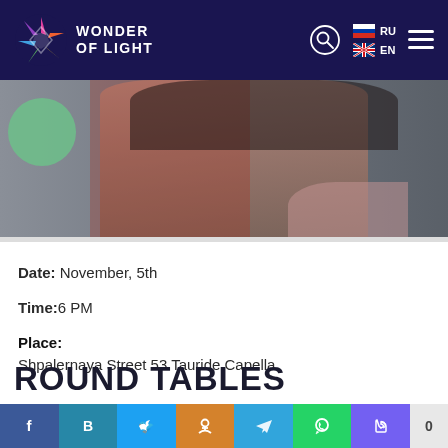WONDER OF LIGHT — Navigation header with logo, search, language switcher (RU/EN), and hamburger menu
[Figure (photo): Partial portrait photo of a woman with short dark hair, wearing red/pink, with a green circle element, on a grey background]
Date: November, 5th
Time: 6 PM
Place: Shpalernaya Street 53 Tauride Capella
ROUND TABLES
Social share bar: Facebook, VK (B), Twitter, Odnoklassniki, Telegram, WhatsApp, Viber, counter 0